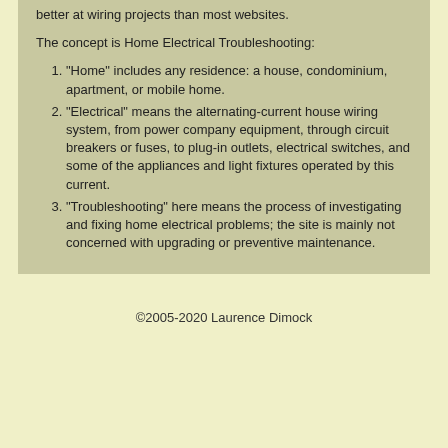better at wiring projects than most websites.
The concept is Home Electrical Troubleshooting:
"Home" includes any residence: a house, condominium, apartment, or mobile home.
"Electrical" means the alternating-current house wiring system, from power company equipment, through circuit breakers or fuses, to plug-in outlets, electrical switches, and some of the appliances and light fixtures operated by this current.
"Troubleshooting" here means the process of investigating and fixing home electrical problems; the site is mainly not concerned with upgrading or preventive maintenance.
©2005-2020 Laurence Dimock